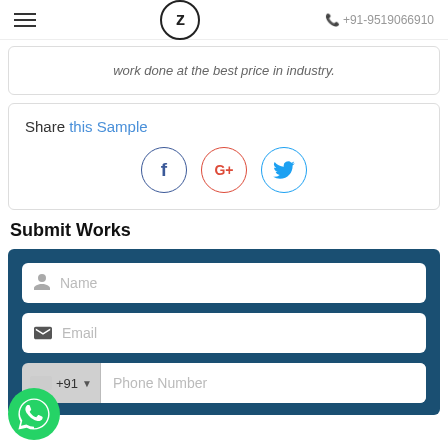≡  Z  +91-9519066910
work done at the best price in industry.
Share this Sample
[Figure (other): Social share buttons: Facebook (f), Google+ (G+), Twitter bird icon]
Submit Works
[Figure (other): Web form with Name field, Email field, and Phone Number field with +91 country code on dark blue background]
[Figure (other): WhatsApp floating button (green circle with WhatsApp icon) in bottom-left corner]